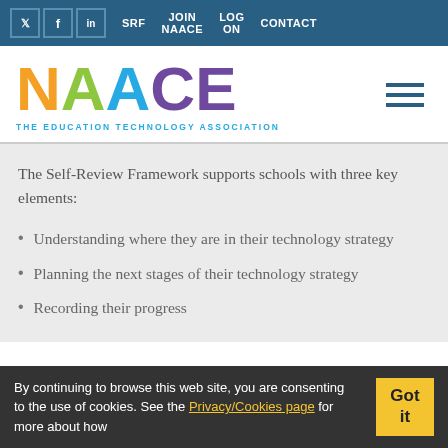Twitter | Facebook | LinkedIn | SRF | JOIN NAACE | LOG ON | CONTACT
[Figure (logo): NAACE - The Education Technology Association logo with colourful letters]
The Self-Review Framework supports schools with three key elements:
Understanding where they are in their technology strategy
Planning the next stages of their technology strategy
Recording their progress
By continuing to browse this web site, you are consenting to the use of cookies. See the Privacy/Cookies page for more about how